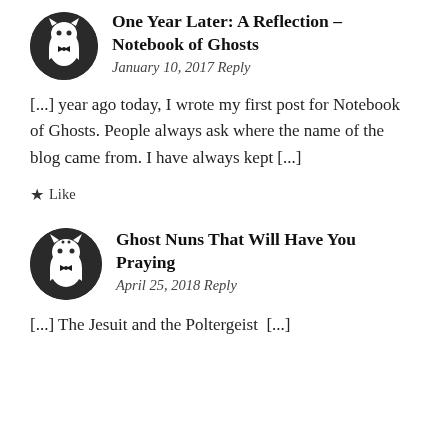[Figure (illustration): Circular avatar with a ghost cat illustration wearing a tuxedo on dark background]
One Year Later: A Reflection – Notebook of Ghosts
January 10, 2017 Reply
[...] year ago today, I wrote my first post for Notebook of Ghosts. People always ask where the name of the blog came from. I have always kept [...]
★ Like
[Figure (illustration): Circular avatar with a ghost cat illustration wearing a tuxedo on dark background]
Ghost Nuns That Will Have You Praying
April 25, 2018 Reply
[...] The Jesuit and the Poltergeist  [...]